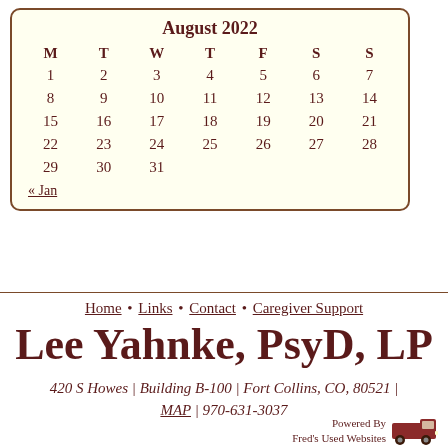| M | T | W | T | F | S | S |
| --- | --- | --- | --- | --- | --- | --- |
| 1 | 2 | 3 | 4 | 5 | 6 | 7 |
| 8 | 9 | 10 | 11 | 12 | 13 | 14 |
| 15 | 16 | 17 | 18 | 19 | 20 | 21 |
| 22 | 23 | 24 | 25 | 26 | 27 | 28 |
| 29 | 30 | 31 |  |  |  |  |
« Jan
Home • Links • Contact • Caregiver Support
Lee Yahnke, PsyD, LP
420 S Howes | Building B-100 | Fort Collins, CO, 80521 | MAP | 970-631-3037
Powered By Fred's Used Websites